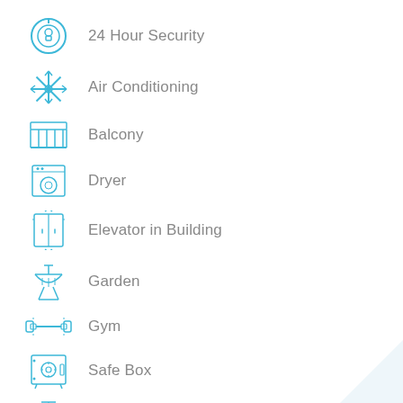24 Hour Security
Air Conditioning
Balcony
Dryer
Elevator in Building
Garden
Gym
Safe Box
Sauna